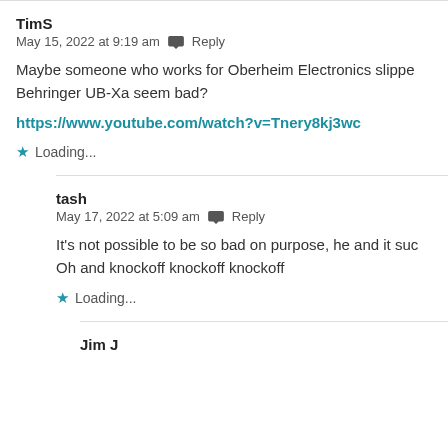TimS
May 15, 2022 at 9:19 am  Reply
Maybe someone who works for Oberheim Electronics slippe... Behringer UB-Xa seem bad?
https://www.youtube.com/watch?v=Tnery8kj3wc
Loading...
tash
May 17, 2022 at 5:09 am  Reply
It's not possible to be so bad on purpose, he and it suc... Oh and knockoff knockoff knockoff
Loading...
Jim J